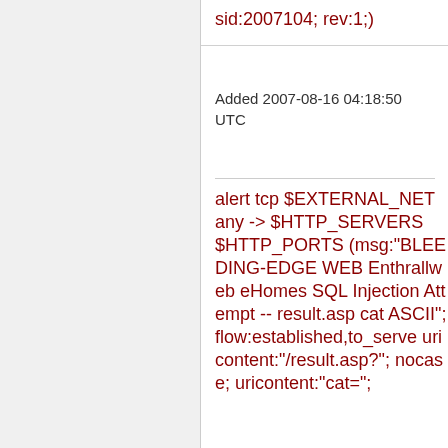sid:2007104; rev:1;)
Added 2007-08-16 04:18:50 UTC
alert tcp $EXTERNAL_NET any -> $HTTP_SERVERS $HTTP_PORTS (msg:"BLEEDING-EDGE WEB Enthrallweb eHomes SQL Injection Attempt -- result.asp cat ASCII"; flow:established,to_server; uricontent:"/result.asp?"; nocase; uricontent:"cat=";